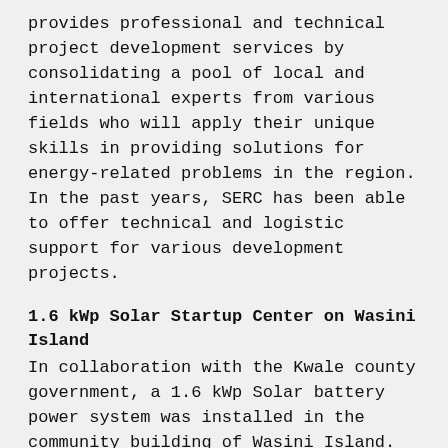provides professional and technical project development services by consolidating a pool of local and international experts from various fields who will apply their unique skills in providing solutions for energy-related problems in the region. In the past years, SERC has been able to offer technical and logistic support for various development projects.
1.6 kWp Solar Startup Center on Wasini Island
In collaboration with the Kwale county government, a 1.6 kWp Solar battery power system was installed in the community building of Wasini Island. The aim of the pilot project was to provide access to electricity and communications and a source of income through phone charging, internet